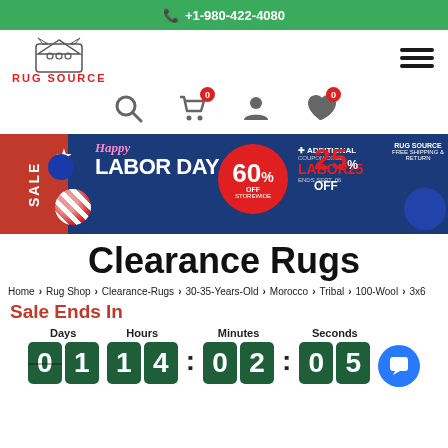+1-980-422-4080
[Figure (logo): Rug Source logo with crown icon and red text RUG SOURCE]
[Figure (infographic): Labor Day Sale banner: Happy LABOR DAY 60% OFF STOREWIDE + ADDITIONAL COUPON CODE LABOR25 25% OFF ENDS SEPT. 06 FREE SHIPPING & RETURN RUG SOURCE]
Clearance Rugs
Home > Rug Shop > Clearance-Rugs > 30-35-Years-Old > Morocco > Tribal > 100-Wool > 3x6
Sale Ends In
Days 01 Hours 14 : Minutes 02 : Seconds 05